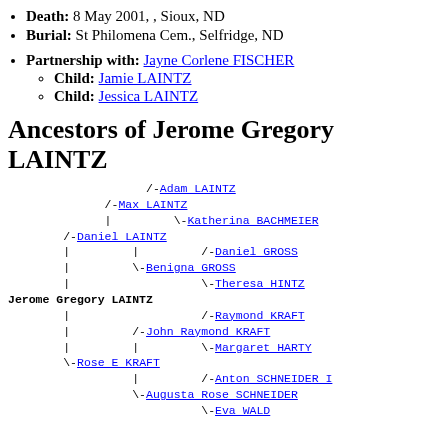Death: 8 May 2001, , Sioux, ND
Burial: St Philomena Cem., Selfridge, ND
Partnership with: Jayne Corlene FISCHER
Child: Jamie LAINTZ
Child: Jessica LAINTZ
Ancestors of Jerome Gregory LAINTZ
[Figure (other): Ancestor tree diagram for Jerome Gregory LAINTZ showing: /-Adam LAINTZ; /-Max LAINTZ; | \-Katherina BACHMEIER; /-Daniel LAINTZ; | | /-Daniel GROSS; | \-Benigna GROSS; | \-Theresa HINTZ; Jerome Gregory LAINTZ; | /-Raymond KRAFT; | /-John Raymond KRAFT; | | \-Margaret HARTY; \-Rose E KRAFT; | /-Anton SCHNEIDER I; \-Augusta Rose SCHNEIDER; \-Eva WALD]